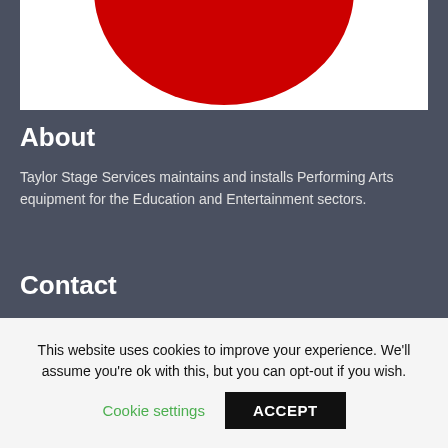[Figure (logo): Company logo with red circle on white background]
About
Taylor Stage Services maintains and installs Performing Arts equipment for the Education and Entertainment sectors.
Contact
Taylor Stage Services Ltd
450 Bryn Road
Ashton-in-Makerfield
Greater Manchester
WN4 8BS

T: 01942 718347
This website uses cookies to improve your experience. We'll assume you're ok with this, but you can opt-out if you wish.
Cookie settings   ACCEPT